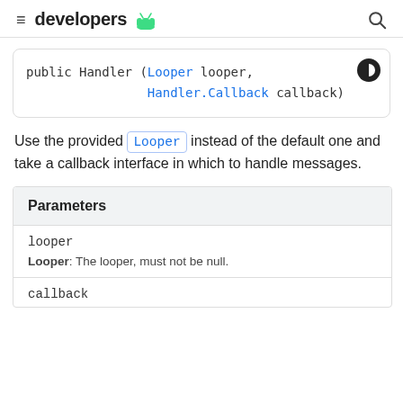developers
Use the provided Looper instead of the default one and take a callback interface in which to handle messages.
| Parameters |
| --- |
| looper | Looper: The looper, must not be null. |
| callback |  |